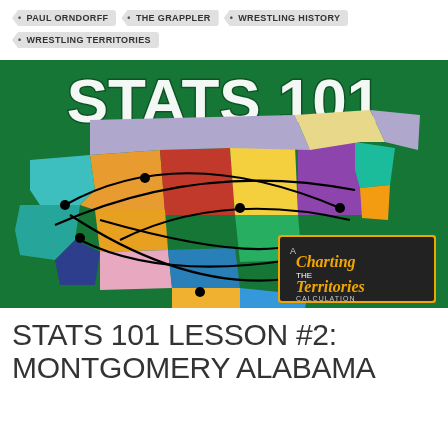PAUL ORNDORFF
THE GRAPPLER
WRESTLING HISTORY
WRESTLING TERRITORIES
[Figure (illustration): Stats 101 banner image showing a colorful map of the United States and Canada divided into wrestling territories, with lines connecting dots across the map. Text reads STATS 101 at top. A logo in lower right reads 'A Charting the Territories Calculation'.]
STATS 101 LESSON #2: MONTGOMERY ALABAMA